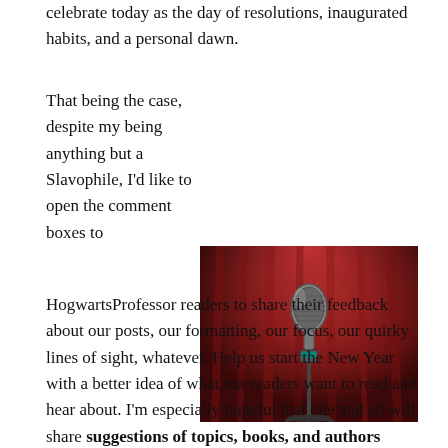celebrate today as the day of resolutions, inaugurated habits, and a personal dawn.
That being the case, despite my being anything but a Slavophile, I'd like to open the comment boxes to HogwartsProfessor readers to share their feedback about our posts, our formatting, our focus, our quirky lines of sight, whatever. Help us start the New Year with a better idea of what our readers want to read and hear about. I'm especially hopeful that one and all will share suggestions of topics, books, and authors you'd like us to explore — and if we could find a
[Figure (photo): A vintage microphone on a stand against a dramatic red curtain background with stage lighting]